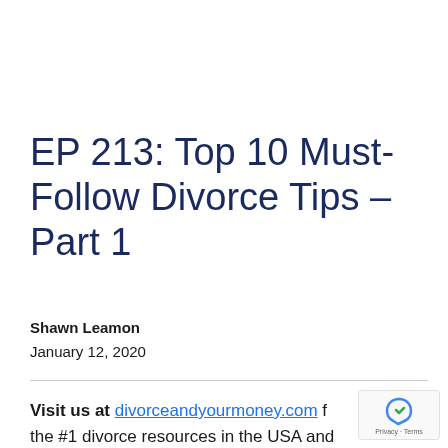EP 213: Top 10 Must-Follow Divorce Tips – Part 1
Shawn Leamon
January 12, 2020
Visit us at divorceandyourmoney.com for the #1 divorce resources in the USA and personalized help. Learn about coaching